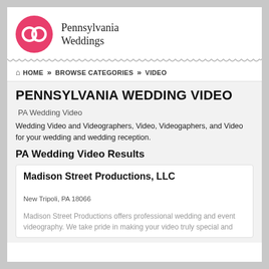[Figure (logo): Pennsylvania Weddings logo: pink circle with two interlocking rings, text 'Pennsylvania Weddings' in serif font]
HOME » BROWSE CATEGORIES » VIDEO
PENNSYLVANIA WEDDING VIDEO
PA Wedding Video
Wedding Video and Videographers, Video, Videogaphers, and Video for your wedding and wedding reception.
PA Wedding Video Results
Madison Street Productions, LLC
New Tripoli, PA 18066
Madison Street Productions offers professional wedding and event videography. We take pride in making your video truly special and